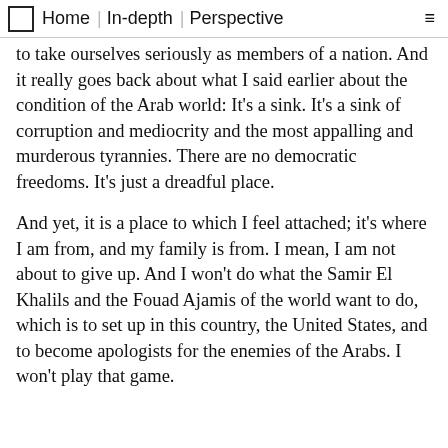Home | In-depth | Perspective
to take ourselves seriously as members of a nation. And it really goes back about what I said earlier about the condition of the Arab world: It's a sink. It's a sink of corruption and mediocrity and the most appalling and murderous tyrannies. There are no democratic freedoms. It's just a dreadful place.
And yet, it is a place to which I feel attached; it's where I am from, and my family is from. I mean, I am not about to give up. And I won't do what the Samir El Khalils and the Fouad Ajamis of the world want to do, which is to set up in this country, the United States, and to become apologists for the enemies of the Arabs. I won't play that game.